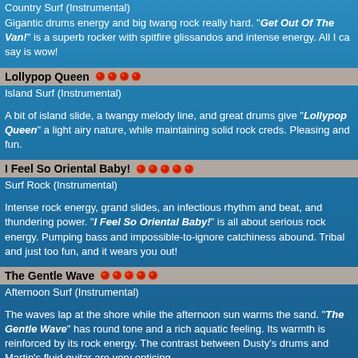Country Surf (Instrumental)
Gigantic drums energy and big twang rock really hard. "Get Out Of The Van!" is a superb rocker with spitfire glissandos and intense energy. All I ca say is wow!
Lollypop Queen ❤❤❤❤
Island Surf (Instrumental)
A bit of island slide, a twangy melody line, and great drums give "Lollypop Queen" a light airy nature, while maintaining solid rock creds. Pleasing and fun.
I Feel So Oriental Baby! ❤❤❤❤❤
Surf Rock (Instrumental)
Intense rock energy, grand slides, an infectious rhythm and beat, and thundering power. "I Feel So Oriental Baby!" is all about serious rock energy. Pumping bass and impossible-to-ignore catchiness abound. Tribal and just too fun, and it wears you out!
The Gentle Wave ❤❤❤❤❤
Afternoon Surf (Instrumental)
The waves lap at the shore while the afternoon sun warms the sand. "The Gentle Wave" has round tone and a rich aquatic feeling. Its warmth is reinforced by its rock energy. The contrast between Dusty's drums and Martin's fluid guitar are very enticing.